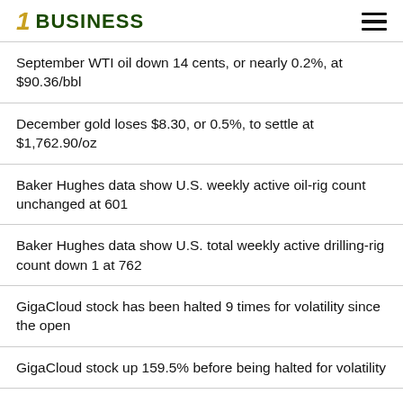1 BUSINESS
September WTI oil down 14 cents, or nearly 0.2%, at $90.36/bbl
December gold loses $8.30, or 0.5%, to settle at $1,762.90/oz
Baker Hughes data show U.S. weekly active oil-rig count unchanged at 601
Baker Hughes data show U.S. total weekly active drilling-rig count down 1 at 762
GigaCloud stock has been halted 9 times for volatility since the open
GigaCloud stock up 159.5% before being halted for volatility
Bed Bath & Beyond stock plunges 41.1%, on track for record 1-day selloff